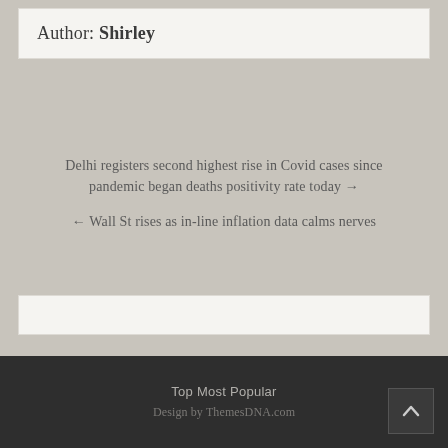Author: Shirley
Delhi registers second highest rise in Covid cases since pandemic began deaths positivity rate today →
← Wall St rises as in-line inflation data calms nerves
Top Most Popular
Design by ThemesDNA.com